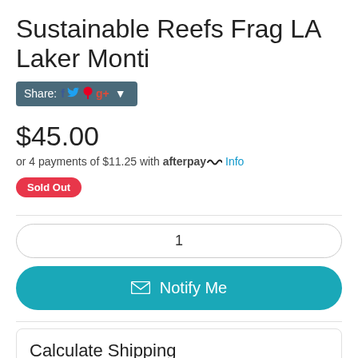Sustainable Reefs Frag LA Laker Monti
[Figure (other): Share button with social media icons (Facebook, Twitter, Pinterest, Google+) on dark teal background with dropdown arrow]
$45.00
or 4 payments of $11.25 with afterpay Info
Sold Out
1
✉ Notify Me
Calculate Shipping
Qty